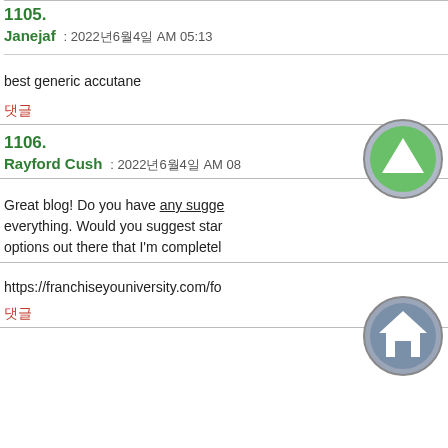1105.
Janejaf : 2022年6月4日 AM 05:13
best generic accutane
댓글
1106.
Rayford Cush : 2022年6月4日 AM 08
Great blog! Do you have any suggestions for everything. Would you suggest starting options out there that I'm completeh
https://franchiseyouniversity.com/fo
댓글